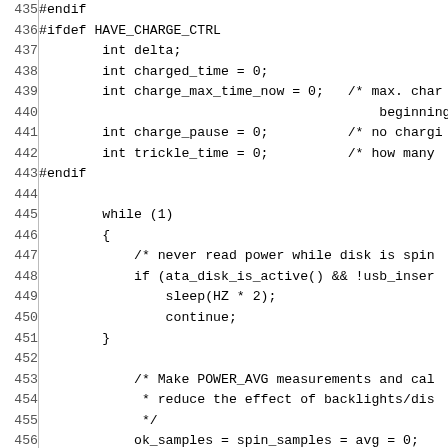Source code listing, lines 435-464, C language with preprocessor directives and a while loop with power measurement logic.